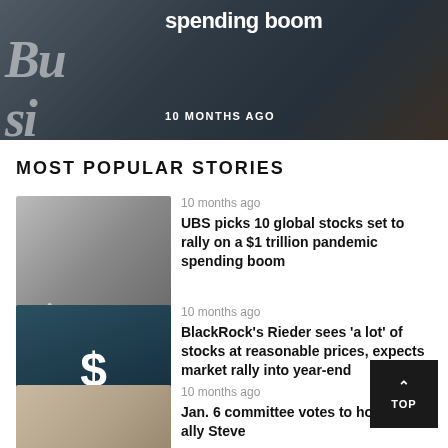[Figure (photo): Newspaper being read by person in suit, top image with 'spending boom' headline overlay and '10 MONTHS AGO' timestamp]
MOST POPULAR STORIES
[Figure (photo): Person reading business newspaper, thumbnail for UBS stocks story]
10 months ago
UBS picks 10 global stocks set to rally on a $1 trillion pandemic spending boom
[Figure (photo): Dollar sign on dark teal background, thumbnail for BlackRock story]
10 months ago
BlackRock's Rieder sees 'a lot' of stocks at reasonable prices, expects market rally into year-end
[Figure (photo): Newspaper partial thumbnail for Jan. 6 committee story]
10 months ago
Jan. 6 committee votes to hold Trump ally Steve